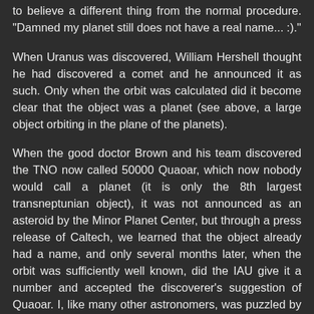to believe a different thing from the normal procedure. "Damned my planet still does not have a real name... :)."
When Uranus was discovered, William Hershell thought he had discovered a comet and he announced it as such. Only when the orbit was calculated did it become clear that the object was a planet (see above, a large object orbiting in the plane of the planets).
When the good doctor Brown and his team discovered the TNO now called 50000 Quaoar, which now nobody would call a planet (it is only the 8th largest transneptunian object), it was not announced as an asteroid by the Minor Planet Center, but through a press release of Caltech, we learned that the object already had a name, and only several months later, when the orbit was sufficiently well known, did the IAU give it a number and accepted the discoverer's suggestion of Quaoar. I, like many other astronomers, was puzzled by the non respect of the admitted procedures for announcing a discovery or naming it from people who should know...
A few months later the same team discovered Sedna, a very interesting asteroid since it is our actual limit in the solar system. Again, instead of following the normal procedure, we had a press